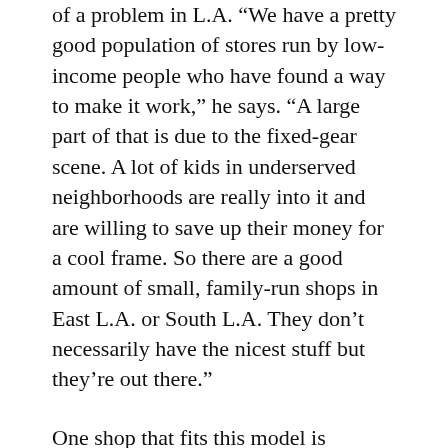of a problem in L.A. “We have a pretty good population of stores run by low-income people who have found a way to make it work,” he says. “A large part of that is due to the fixed-gear scene. A lot of kids in underserved neighborhoods are really into it and are willing to save up their money for a cool frame. So there are a good amount of small, family-run shops in East L.A. or South L.A. They don’t necessarily have the nicest stuff but they’re out there.”
One shop that fits this model is Downtown L.A. Bicycles, which does a brisk business in fixed-gears. Why do fixies appeal to inner-city youth? “They like the choice of colors, the sense of acceptance among their peers and the fact that you can go really fast from point A to point B,” says manager Daniel Farahirad. “If someone opened a shop like ours on the South Side of Chicago they’d get really busy